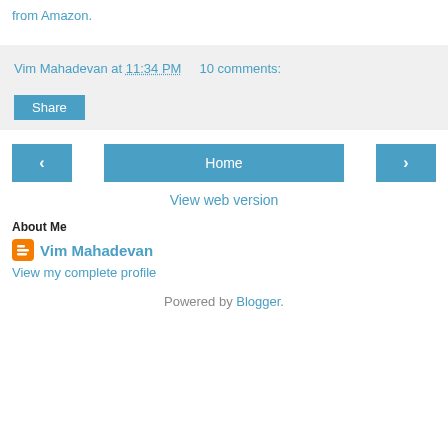from Amazon.
Vim Mahadevan at 11:34 PM    10 comments:
Share
‹  Home  ›
View web version
About Me
Vim Mahadevan
View my complete profile
Powered by Blogger.